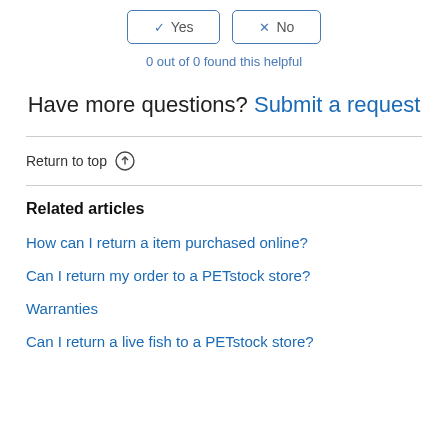[Figure (other): Yes and No feedback buttons]
0 out of 0 found this helpful
Have more questions? Submit a request
Return to top ↑
Related articles
How can I return a item purchased online?
Can I return my order to a PETstock store?
Warranties
Can I return a live fish to a PETstock store?